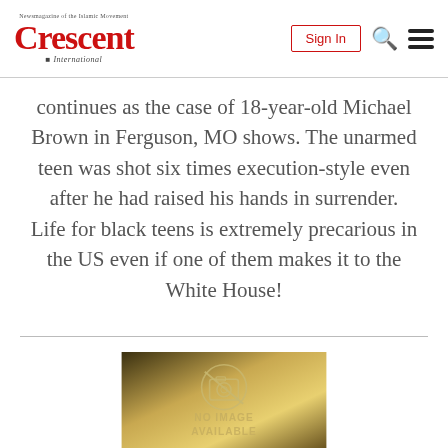Crescent International — Sign In
continues as the case of 18-year-old Michael Brown in Ferguson, MO shows. The unarmed teen was shot six times execution-style even after he had raised his hands in surrender. Life for black teens is extremely precarious in the US even if one of them makes it to the White House!
[Figure (photo): No Image Available placeholder with a camera-not-allowed icon on a blurred golden-brown background]